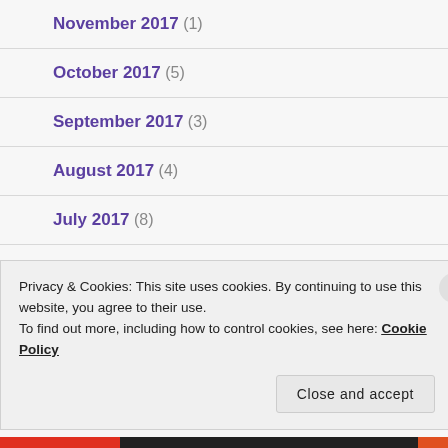November 2017 (1)
October 2017 (5)
September 2017 (3)
August 2017 (4)
July 2017 (8)
June 2017 (3)
Privacy & Cookies: This site uses cookies. By continuing to use this website, you agree to their use. To find out more, including how to control cookies, see here: Cookie Policy
Close and accept